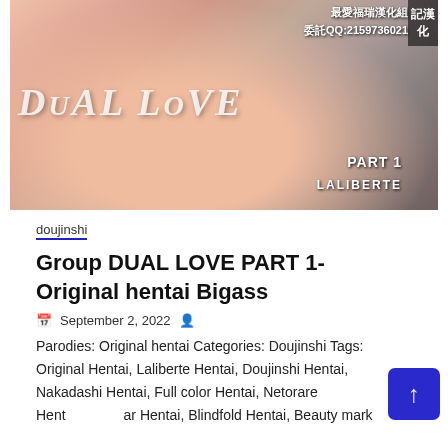[Figure (illustration): Cover art of manga/doujinshi titled DUAL LOVE PART 1 by LALIBERTE. Anime-style illustration with Chinese localization text: 最愛福瑞漢化組 委託QQ:2159736021]
doujinshi
Group DUAL LOVE PART 1- Original hentai Bigass
September 2, 2022
Parodies: Original hentai Categories: Doujinshi Tags: Original Hentai, Laliberte Hentai, Doujinshi Hentai, Nakadashi Hentai, Full color Hentai, Netorare Hentai, ar Hentai, Blindfold Hentai, Beauty mark